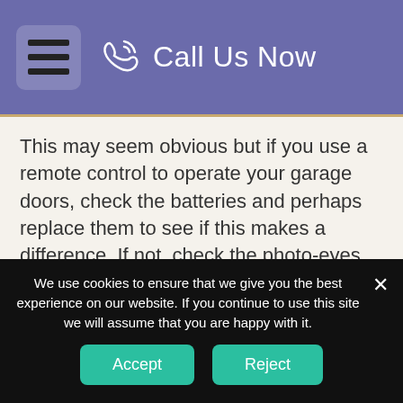Call Us Now
This may seem obvious but if you use a remote control to operate your garage doors, check the batteries and perhaps replace them to see if this makes a difference. If not, check the photo-eyes. These are located on either side of the door about six inches above the ground and if they sense any obstructions, these sensors will prevent the garage door from
We use cookies to ensure that we give you the best experience on our website. If you continue to use this site we will assume that you are happy with it.